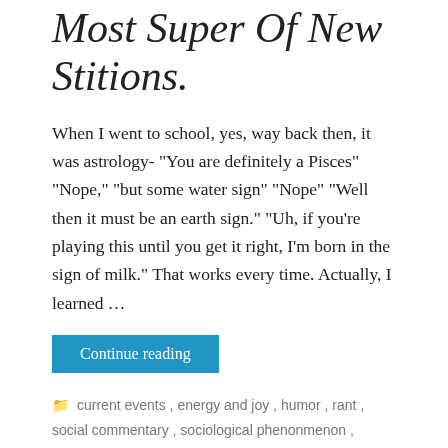Most Super Of New Stitions.
When I went to school, yes, way back then, it was astrology- "You are definitely a Pisces" "Nope," "but some water sign" "Nope" "Well then it must be an earth sign." "Uh, if you're playing this until you get it right, I'm born in the sign of milk." That works every time. Actually, I learned …
Continue reading
current events, energy and joy, humor, rant, social commentary, sociological phenonmenon, thought piece
Leave a comment   February 7, 2018   2 Minutes
And Gutenberg Lived